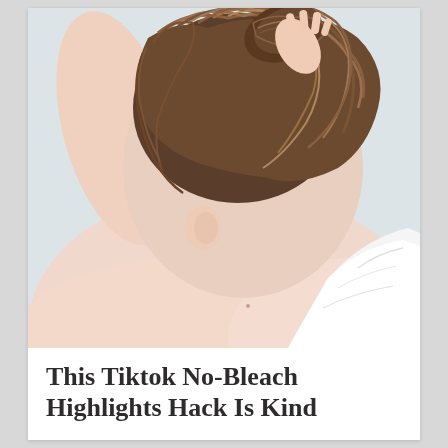[Figure (photo): Close-up photo of a person with wet brown hair pulled up, head bowed down, holding or wrapping hair in a white towel. Pale skin, viewed from behind/side, light blue-grey background.]
This Tiktok No-Bleach Highlights Hack Is Kind